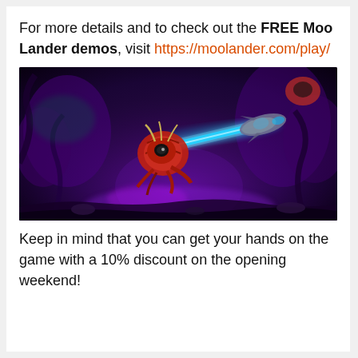For more details and to check out the FREE Moo Lander demos, visit https://moolander.com/play/
[Figure (illustration): Dark fantasy game screenshot showing a creature character shooting a cyan/blue beam at a spacecraft, set against a purple and dark background with glowing elements.]
Keep in mind that you can get your hands on the game with a 10% discount on the opening weekend!